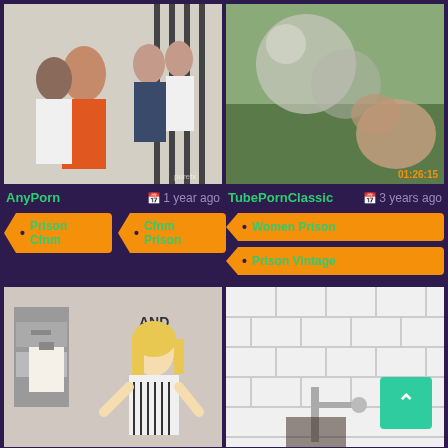[Figure (photo): Thumbnail of prison-themed video from AnyPorn]
[Figure (photo): Thumbnail of classic video from TubePornClassic with timestamp 01:26:15]
AnyPorn    1 year ago
TubePornClassic    3 years ago
Prison Cfnm
Cfnm Prison
Women Prison
Prison Vintage
[Figure (photo): Thumbnail of blonde woman in striped dress in office/prison setting]
[Figure (photo): Thumbnail of bathroom/shower scene with back-to-top button overlay]